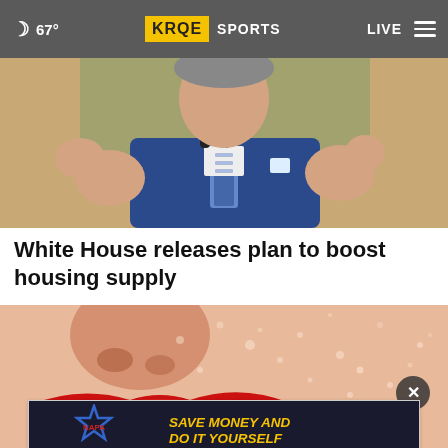67° | KRQE SPORTS | LIVE
[Figure (photo): Person in blue suit gesturing at a podium with microphones, hands raised, close-up photo]
White House releases plan to boost housing supply
[Figure (photo): Close-up macro photo of a face with red lipstick, water droplets on skin]
[Figure (other): Advertisement banner: National Auto Parts - Complete Exterior Body Parts Supplier. SAVE MONEY AND DO IT YOURSELF. Open to the Public.]